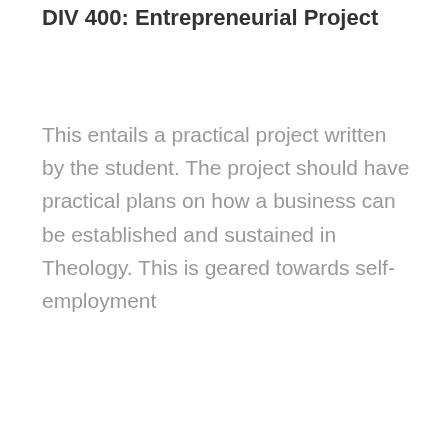DIV 400: Entrepreneurial Project
This entails a practical project written by the student. The project should have practical plans on how a business can be established and sustained in Theology. This is geared towards self-employment